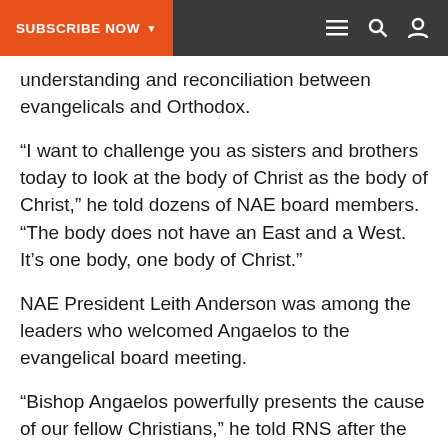SUBSCRIBE NOW
understanding and reconciliation between evangelicals and Orthodox.
“I want to challenge you as sisters and brothers today to look at the body of Christ as the body of Christ,” he told dozens of NAE board members. “The body does not have an East and a West. It’s one body, one body of Christ.”
NAE President Leith Anderson was among the leaders who welcomed Angaelos to the evangelical board meeting.
“Bishop Angaelos powerfully presents the cause of our fellow Christians,” he told RNS after the first